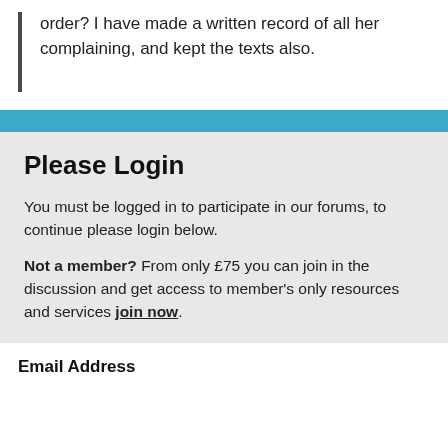order? I have made a written record of all her complaining, and kept the texts also.
Please Login
You must be logged in to participate in our forums, to continue please login below.
Not a member? From only £75 you can join in the discussion and get access to member's only resources and services join now.
Email Address